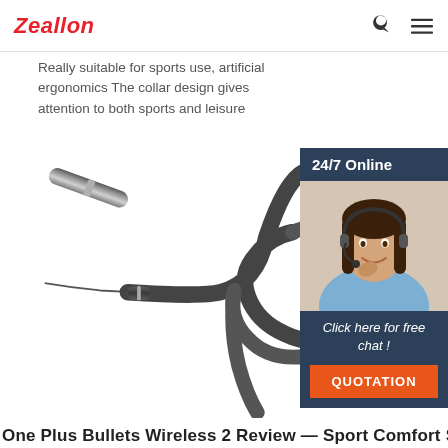Zeallon
Really suitable for sports use, artificial ergonomics The collar design gives attention to both sports and leisure
[Figure (photo): Product photo of a neckband/collar style Bluetooth earphone with flexible cable coiled in a loop, shown against a white background]
[Figure (photo): Customer service representative widget showing a woman with headset smiling, with '24/7 Online' header, 'Click here for free chat!' text, and an orange QUOTATION button]
One Plus Bullets Wireless 2 Review — Sport Comfort Stall...